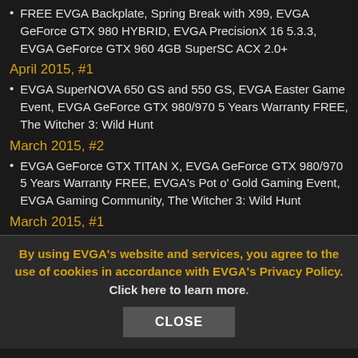FREE EVGA Backplate, Spring Break with X99, EVGA GeForce GTX 980 HYBRID, EVGA PrecisionX 16 5.3.3, EVGA GeForce GTX 960 4GB SuperSC ACX 2.0+
April 2015, #1
EVGA SuperNOVA 650 GS and 550 GS, EVGA Easter Game Event, EVGA GeForce GTX 980/970 5 Years Warranty FREE, The Witcher 3: Wild Hunt
March 2015, #2
EVGA GeForce GTX TITAN X, EVGA GeForce GTX 980/970 5 Years Warranty FREE, EVGA's Pot o' Gold Gaming Event, EVGA Gaming Community, The Witcher 3: Wild Hunt
March 2015, #1
By using EVGA's website and services, you agree to the use of cookies in accordance with EVGA's Privacy Policy. Click here to learn more.
CLOSE